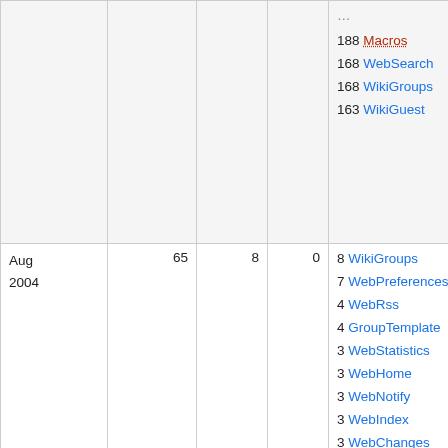| Month | Views | Saves | Attch | Top pages |
| --- | --- | --- | --- | --- |
|  |  |  | 188 Macros
168 WebSearch
168 WikiGroups
163 WikiGuest |  |
| Aug 2004 | 65 | 8 | 0 | 8 WikiGroups
7 WebPreferences
4 WebRss
4 GroupTemplate
3 WebStatistics
3 WebHome
3 WebNotify
3 WebIndex
3 WebChanges
2 WebSearchAdvanced
2 PeterThoeny |
| Nov 2021 | 14585 | 9 | 2 | 2865 WebHome
1969 WebSearch
1647 WebCreateNewTopic
557 WebStatistics |